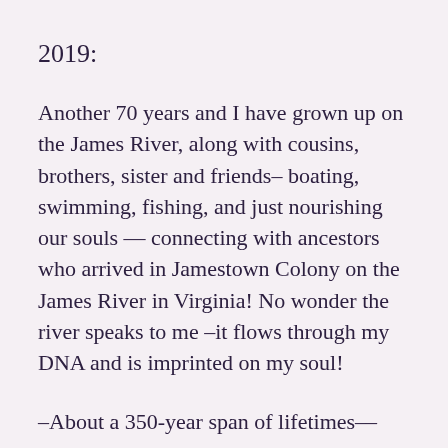2019:
Another 70 years and I have grown up on the James River, along with cousins, brothers, sister and friends– boating, swimming, fishing, and just nourishing our souls — connecting with ancestors who arrived in Jamestown Colony on the James River in Virginia! No wonder the river speaks to me –it flows through my DNA and is imprinted on my soul!
–About a 350-year span of lifetimes––